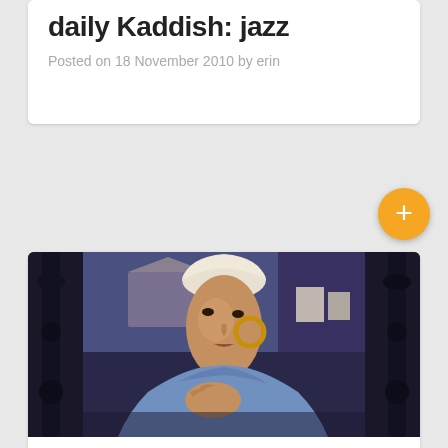daily Kaddish: jazz
Posted on 18 November 2010 by erin
[Figure (photo): Painting of a woman with a white head wrap and gold hoop earrings, wearing a light blue garment, hand on chest, with architectural elements and a landscape in the background. Dark wooden candlestick holders flank the painting.]
daily kaddish: cajun with dog, for Marie